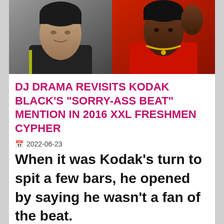[Figure (photo): Two side-by-side photos: left shows a man in a dark jacket with a white v-neck shirt, right shows a man in a red outfit with a gold chain]
DJ DRAMA REVISITS KODAK BLACK'S "SORRY-ASS BEAT" MENTION IN 2016 XXL FRESHMEN CYPHER
2022-06-23
When it was Kodak's turn to spit a few bars, he opened by saying he wasn't a fan of the beat.